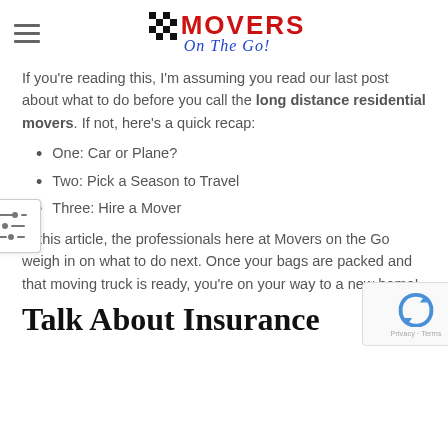MOVERS On The Go!
If you’re reading this, I’m assuming you read our last post about what to do before you call the long distance residential movers. If not, here’s a quick recap:
One: Car or Plane?
Two: Pick a Season to Travel
Three: Hire a Mover
In this article, the professionals here at Movers on the Go weigh in on what to do next. Once your bags are packed and that moving truck is ready, you’re on your way to a new home!
Talk About Insurance